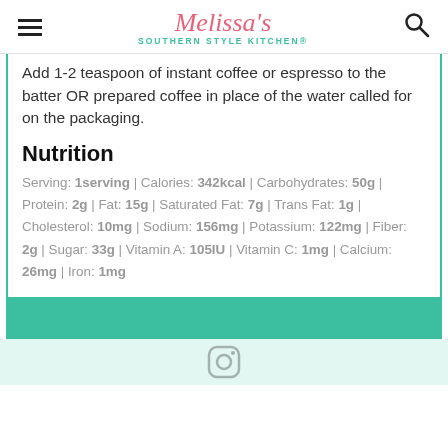Melissa's Southern Style Kitchen®
Add 1-2 teaspoon of instant coffee or espresso to the batter OR prepared coffee in place of the water called for on the packaging.
Nutrition
Serving: 1serving | Calories: 342kcal | Carbohydrates: 50g | Protein: 2g | Fat: 15g | Saturated Fat: 7g | Trans Fat: 1g | Cholesterol: 10mg | Sodium: 156mg | Potassium: 122mg | Fiber: 2g | Sugar: 33g | Vitamin A: 105IU | Vitamin C: 1mg | Calcium: 26mg | Iron: 1mg